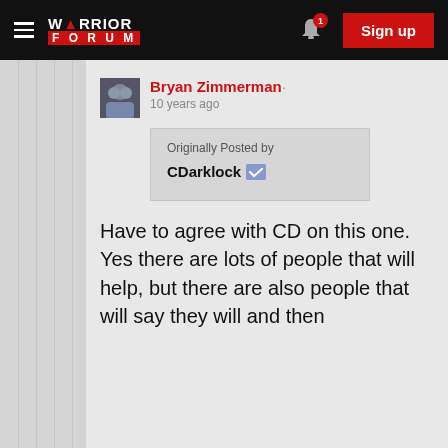Warrior Forum — Sign up
[Figure (screenshot): Warrior Forum user avatar for Bryan Zimmerman]
Bryan Zimmerman·
10 years ago
Originally Posted by CDarklock
Have to agree with CD on this one. Yes there are lots of people that will help, but there are also people that will say they will and then